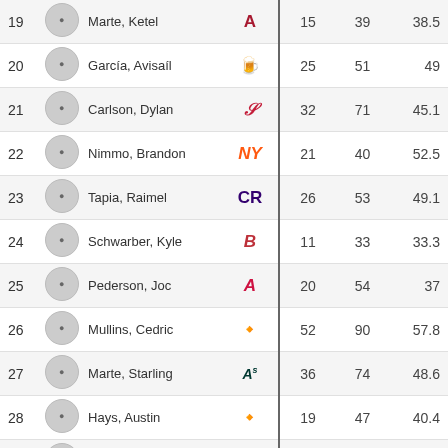| Rk. | Fielder | Team | Outs | Opp | % |
| --- | --- | --- | --- | --- | --- |
| 19 | Marte, Ketel | ARI | 15 | 39 | 38.5 |
| 20 | García, Avisaíl | MIL | 25 | 51 | 49 |
| 21 | Carlson, Dylan | STL | 32 | 71 | 45.1 |
| 22 | Nimmo, Brandon | NYM | 21 | 40 | 52.5 |
| 23 | Tapia, Raimel | COL | 26 | 53 | 49.1 |
| 24 | Schwarber, Kyle | BOS | 11 | 33 | 33.3 |
| 25 | Pederson, Joc | ATL | 20 | 54 | 37 |
| 26 | Mullins, Cedric | BAL | 52 | 90 | 57.8 |
| 27 | Marte, Starling | OAK | 36 | 74 | 48.6 |
| 28 | Hays, Austin | BAL | 19 | 47 | 40.4 |
| 29 | Brantley, Michael | HOU | 16 | 38 | 42.1 |
| 30 | Baddoo, Akil | DET | 25 | 60 | 41.7 |
| 31 | Zimmer, Bradley | CLE | 20 | 33 | 60.6 |